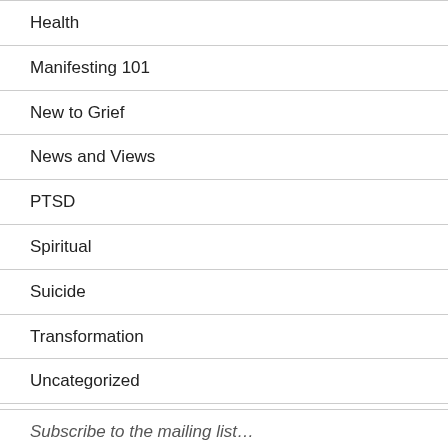Health
Manifesting 101
New to Grief
News and Views
PTSD
Spiritual
Suicide
Transformation
Uncategorized
Subscribe to the mailing list…